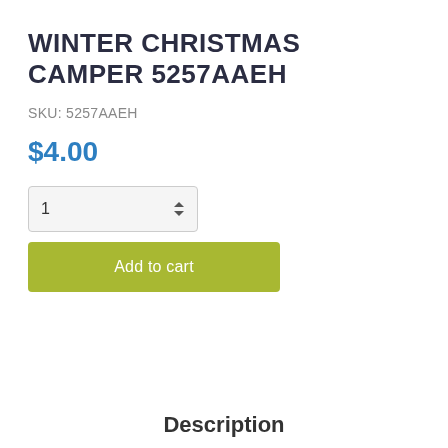WINTER CHRISTMAS CAMPER 5257AAEH
SKU: 5257AAEH
$4.00
1
Add to cart
Description